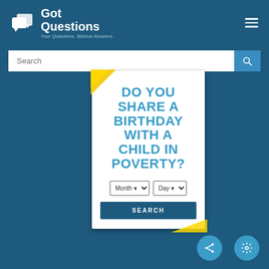[Figure (logo): GotQuestions logo with chat bubble icon and text 'Got Questions - Your Questions. Biblical Answers.']
[Figure (screenshot): Search bar with placeholder text 'Search' and blue search button with magnifying glass icon]
[Figure (infographic): Advertisement card on white background with teal text reading 'DO YOU SHARE A BIRTHDAY WITH A CHILD IN POVERTY?' with Month and Day dropdown selectors and a SEARCH button. Yellow ribbon accent in top-left corner.]